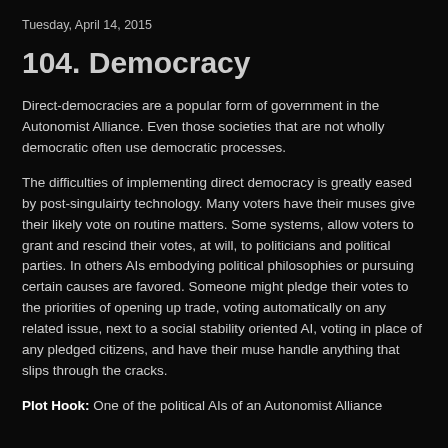Tuesday, April 14, 2015
104. Democracy
Direct-democracies are a popular form of government in the Autonomist Alliance. Even those societies that are not wholly democratic often use democratic processes.
The difficulties of implementing direct democracy is greatly eased by post-singulairty technology. Many voters have their muses give their likely vote on routine matters. Some systems, allow voters to grant and rescind their votes, at will, to politicians and political parties. In others AIs embodying political philosophies or pursuing certain causes are favored. Someone might pledge their votes to the priorities of opening up trade, voting automatically on any related issue, next to a social stability oriented AI, voting in place of any pledged citizens, and have their muse handle anything that slips through the cracks.
Plot Hook: One of the political AIs of an Autonomist Alliance